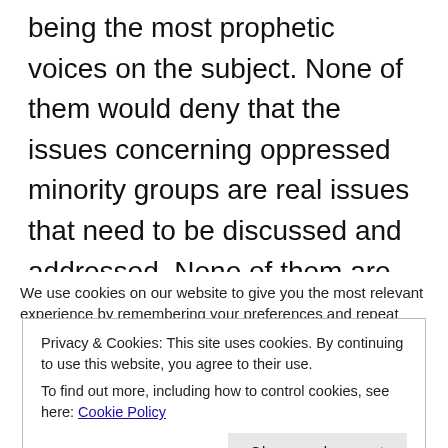being the most prophetic voices on the subject. None of them would deny that the issues concerning oppressed minority groups are real issues that need to be discussed and addressed. None of them are racist, homophobic, transphobic etc. What they do fear is this new form of fundamentalist religion that has emerged in recent years and gives out the
We use cookies on our website to give you the most relevant experience by remembering your preferences and repeat
Privacy & Cookies: This site uses cookies. By continuing to use this website, you agree to their use.
To find out more, including how to control cookies, see here: Cookie Policy
[Close and accept]